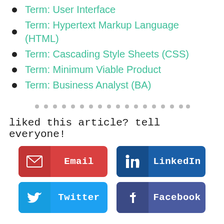Term: User Interface
Term: Hypertext Markup Language (HTML)
Term: Cascading Style Sheets (CSS)
Term: Minimum Viable Product
Term: Business Analyst (BA)
liked this article? tell everyone!
[Figure (other): Social share buttons: Email, LinkedIn, Twitter, Facebook]